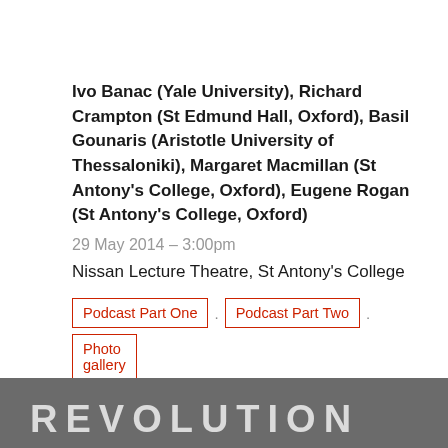Ivo Banac (Yale University), Richard Crampton (St Edmund Hall, Oxford), Basil Gounaris (Aristotle University of Thessaloniki), Margaret Macmillan (St Antony's College, Oxford), Eugene Rogan (St Antony's College, Oxford)
29 May 2014 – 3:00pm
Nissan Lecture Theatre, St Antony's College
Podcast Part One
Podcast Part Two
Photo gallery
Registration required
[Figure (photo): Partial photo at bottom of page showing handwritten or painted text reading 'REVOLUTION' in large letters]